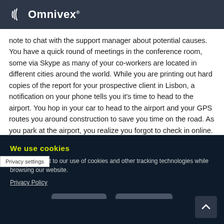Omnivex
note to chat with the support manager about potential causes. You have a quick round of meetings in the conference room, some via Skype as many of your co-workers are located in different cities around the world. While you are printing out hard copies of the report for your prospective client in Lisbon, a notification on your phone tells you it’s time to head to the airport. You hop in your car to head to the airport and your GPS routes you around construction to save you time on the road. As you park at the airport, you realize you forgot to check in online. It’s no problem, though, because you can print out your boarding the many kiosks inside. After the ritual security
Privacy settings
We use cookies
Please consent to our use of cookies and other tracking technologies while browsing our website.
Privacy Policy
I Accept   I Decline